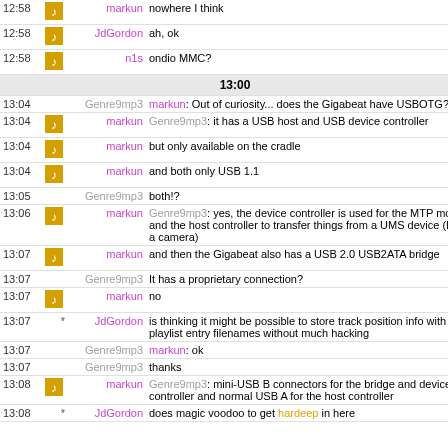| Time | Icon | Nick | Message |
| --- | --- | --- | --- |
| 12:58 | icon | markun | nowhere I think |
| 12:58 | icon | JdGordon | ah, ok |
| 12:58 | icon | n1s | ondio MMC? |
| 13:00 |  |  |  |
| 13:04 |  | Genre9mp3 | markun: Out of curiosity... does the Gigabeat have USBOTG? |
| 13:04 | icon | markun | Genre9mp3: it has a USB host and USB device controller |
| 13:04 | icon | markun | but only available on the cradle |
| 13:04 | icon | markun | and both only USB 1.1 |
| 13:05 |  | Genre9mp3 | both!? |
| 13:06 | icon | markun | Genre9mp3: yes, the device controller is used for the MTP mode and the host controller to transfer things from a UMS device (like a camera) |
| 13:07 | icon | markun | and then the Gigabeat also has a USB 2.0 USB2ATA bridge |
| 13:07 |  | Genre9mp3 | It has a proprietary connection? |
| 13:07 | icon | markun | no |
| 13:07 | * | JdGordon | is thinking it might be possible to store track position info with playlist entry filenames without much hacking |
| 13:07 |  | Genre9mp3 | markun: ok |
| 13:07 |  | Genre9mp3 | thanks |
| 13:08 | icon | markun | Genre9mp3: mini-USB B connectors for the bridge and device controller and normal USB A for the host controller |
| 13:08 | * | JdGordon | does magic voodoo to get hardeep in here |